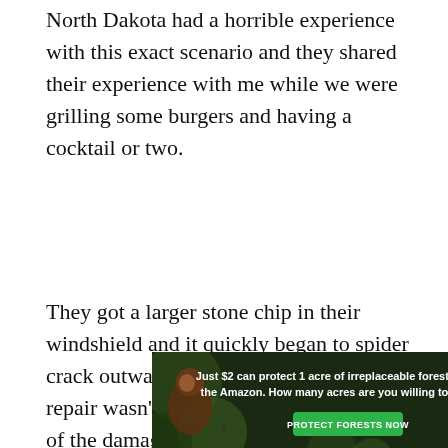North Dakota had a horrible experience with this exact scenario and they shared their experience with me while we were grilling some burgers and having a cocktail or two.
They got a larger stone chip in their windshield and it quickly began to spider crack outward. They knew that a DIY repair wasn't possible because of the size of the damage, so they immediately looked online for the nearest RV repair center that could accommodate their needs. Since they were in a less populated area of our country, they had to
[Figure (infographic): Advertisement banner with dark forest background showing an orangutan. Text reads: 'Just $2 can protect 1 acre of irreplaceable forest homes in the Amazon. How many acres are you willing to protect?' with a green button labeled 'PROTECT FORESTS NOW']
x